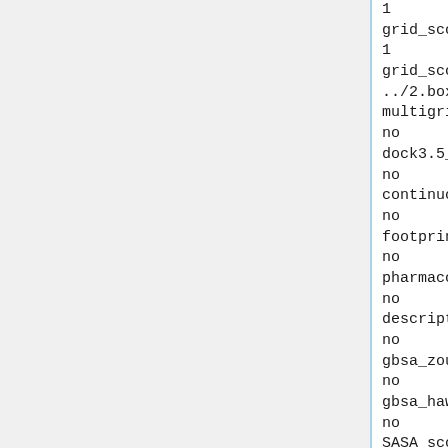1
grid_score_es_scale
1
grid_score_grid_prefix
../2.boxgrid/grid
multigrid_score_secondary
no
dock3.5_score_secondary
no
continuous_score_secondary
no
footprint_similarity_score_secondary
no
pharmacophore_score_secondary
no
descriptor_score_secondary
no
gbsa_zou_score_secondary
no
gbsa_hawkins_score_secondary
no
SASA_score_secondary
no
amber_score_secondary
no